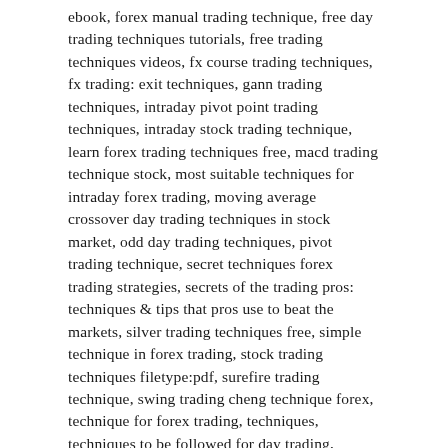ebook, forex manual trading technique, free day trading techniques tutorials, free trading techniques videos, fx course trading techniques, fx trading: exit techniques, gann trading techniques, intraday pivot point trading techniques, intraday stock trading technique, learn forex trading techniques free, macd trading technique stock, most suitable techniques for intraday forex trading, moving average crossover day trading techniques in stock market, odd day trading techniques, pivot trading technique, secret techniques forex trading strategies, secrets of the trading pros: techniques & tips that pros use to beat the markets, silver trading techniques free, simple technique in forex trading, stock trading techniques filetype:pdf, surefire trading technique, swing trading cheng technique forex, technique for forex trading, techniques, techniques to be followed for day trading, techniques used in forex trading, the best trading technique, the latest trading articles and techniques with charts, trading entry techniques, trading technique using moving average", trading techniques how to find bottom, what are the gambling techniques in trading
Forex Indicator Signal Software Free 100%